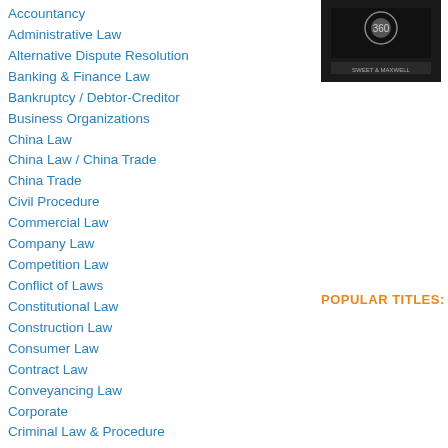Accountancy
Administrative Law
Alternative Dispute Resolution
Banking & Finance Law
Bankruptcy / Debtor-Creditor
Business Organizations
China Law
China Law / China Trade
China Trade
Civil Procedure
Commercial Law
Company Law
Competition Law
Conflict of Laws
Constitutional Law
Construction Law
Consumer Law
Contract Law
Conveyancing Law
Corporate
Criminal Law & Procedure
Damages / Remedies
Data Privacy Law
Employment Law
Ethics and Professional
[Figure (photo): Book cover image - dark background with logo/crest]
sitting for law school the subject.
Journal of Internatio...
Hong Kong Basic La...
Hong Kong Basic La... work for anyone inte... Basic Law. A numbe... law have taken plac... 2015 and second e...
Hong Kong Law Jou...
POPULAR TITLES: UNITED KING...
Goode and Gullifer ... Edition
Tudor on Charities 1...
Discrimination at We...
English Legal Syste...